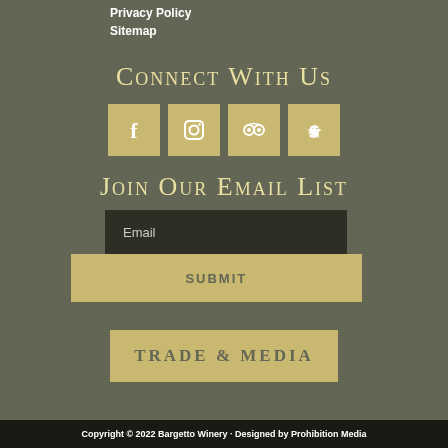Privacy Policy
Sitemap
Connect With Us
[Figure (infographic): Four social media icon buttons: Facebook, Instagram, TripAdvisor, Yelp — gold square backgrounds with white icons]
Join Our Email List
[Figure (infographic): Email input field with dark background and placeholder text 'Email', below it a gold Submit button]
[Figure (infographic): Gold button labeled 'TRADE & MEDIA']
Copyright © 2022 Bargetto Winery · Designed by Prohibition Media